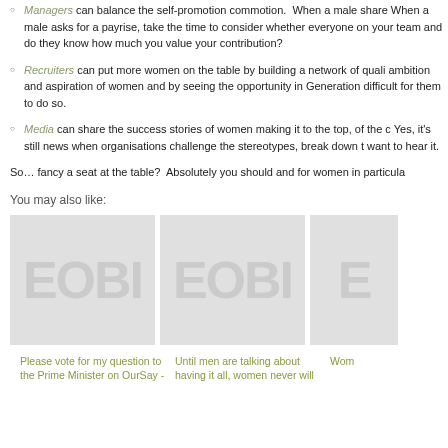Managers can balance the self-promotion commotion. When a male share When a male asks for a payrise, take the time to consider whether everyone on your team and do they know how much you value your contribution?
Recruiters can put more women on the table by building a network of quali ambition and aspiration of women and by seeing the opportunity in Generation difficult for them to do so.
Media can share the success stories of women making it to the top, of the c Yes, it's still news when organisations challenge the stereotypes, break down t want to hear it.
So… fancy a seat at the table? Absolutely you should and for women in particula
You may also like:
[Figure (illustration): Thumbnail image with EOBI logo placeholder in light grey]
[Figure (illustration): Thumbnail image with EOBI logo placeholder in light grey]
[Figure (illustration): Partial thumbnail image with EOBI logo placeholder in light grey]
Please vote for my question to the Prime Minister on OurSay -
Until men are talking about having it all, women never will
Wom